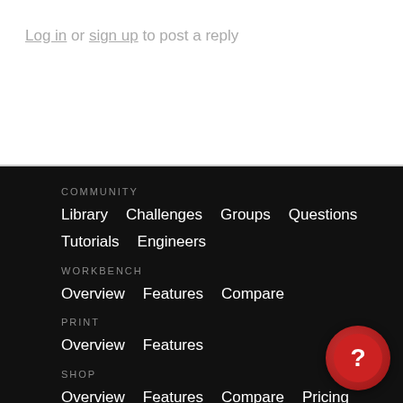Log in or sign up to post a reply
COMMUNITY
Library   Challenges   Groups   Questions   Tutorials   Engineers
WORKBENCH
Overview   Features   Compare
PRINT
Overview   Features
SHOP
Overview   Features   Compare   Pricing
RESOURCES
[Figure (illustration): Red circular help button with white question mark]